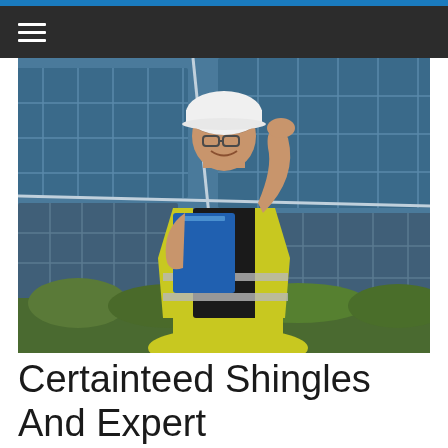≡
[Figure (photo): A male worker in a yellow safety vest and white hard hat, holding a blue clipboard/folder, smiling in front of large solar panels. The background shows multiple solar panel arrays and some trees.]
Certainteed Shingles And Expert Contractors Near You